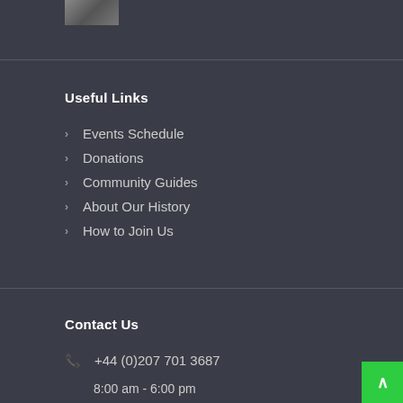[Figure (photo): Small thumbnail image of a building or architectural structure, partially visible at top of page]
Useful Links
Events Schedule
Donations
Community Guides
About Our History
How to Join Us
Contact Us
+44 (0)207 701 3687
8:00 am - 6:00 pm